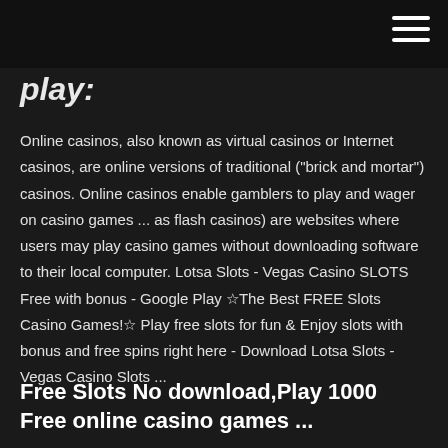play:
Online casinos, also known as virtual casinos or Internet casinos, are online versions of traditional ("brick and mortar") casinos. Online casinos enable gamblers to play and wager on casino games ... as flash casinos) are websites where users may play casino games without downloading software to their local computer. Lotsa Slots - Vegas Casino SLOTS Free with bonus - Google Play ☆The Best FREE Slots Casino Games!☆ Play free slots for fun & Enjoy slots with bonus and free spins right here - Download Lotsa Slots - Vegas Casino Slots ...
Free Slots No download,Play 1000 Free online casino games ...